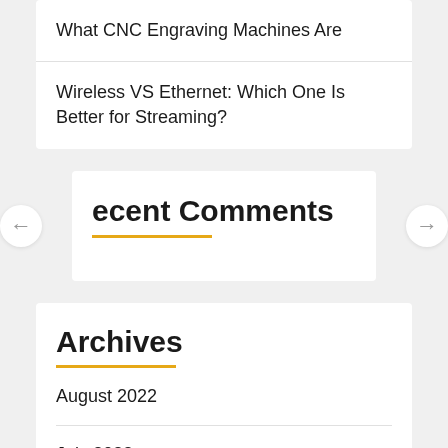What CNC Engraving Machines Are
Wireless VS Ethernet: Which One Is Better for Streaming?
ecent Comments
Archives
August 2022
July 2022